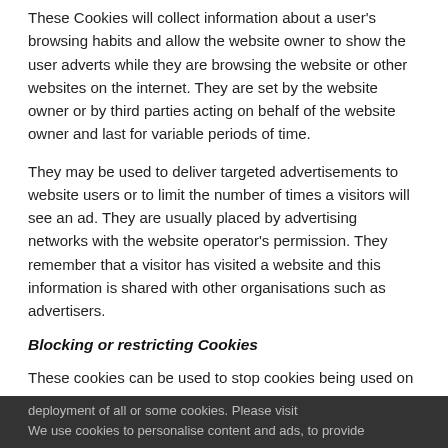These Cookies will collect information about a user's browsing habits and allow the website owner to show the user adverts while they are browsing the website or other websites on the internet. They are set by the website owner or by third parties acting on behalf of the website owner and last for variable periods of time.
They may be used to deliver targeted advertisements to website users or to limit the number of times a visitors will see an ad. They are usually placed by advertising networks with the website operator's permission. They remember that a visitor has visited a website and this information is shared with other organisations such as advertisers.
Blocking or restricting Cookies
These cookies can be used to stop cookies being used on a website user's device by activating a setting on the website user's browser that results in blocking the deployment of all or some cookies. Please visit
We use cookies to personalise content and ads, to provide